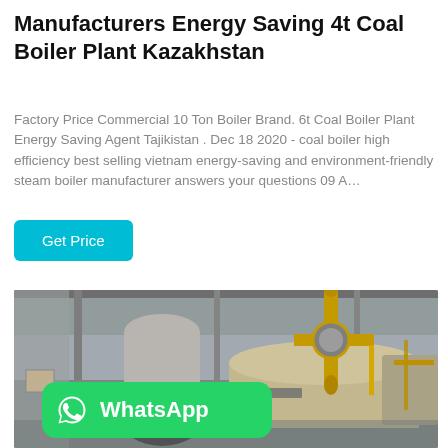Manufacturers Energy Saving 4t Coal Boiler Plant Kazakhstan
Factory Price Commercial 10 Ton Boiler Brand. 6t Coal Boiler Plant Energy Saving Agent Tajikistan . Dec 18 2020 - coal boiler high efficiency best selling vietnam energy-saving and environment-friendly steam boiler manufacturer answers your questions 09 A…
Get Price
[Figure (photo): Industrial boiler equipment in a facility showing large cylindrical boiler tanks, yellow pipes, and mechanical components inside an industrial building]
[Figure (logo): WhatsApp green banner with WhatsApp logo icon and text 'WhatsApp']